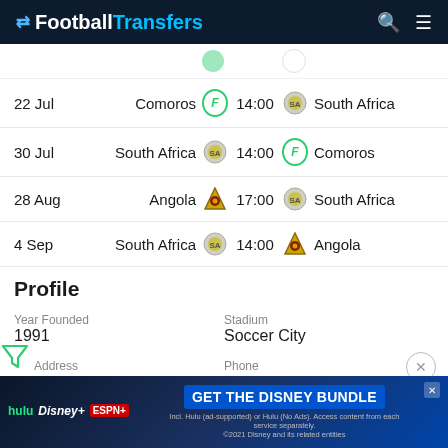FootballTransfers
| Date | Home Team |  | Time |  | Away Team |
| --- | --- | --- | --- | --- | --- |
| 22 Jul | Comoros |  | 14:00 |  | South Africa |
| 30 Jul | South Africa |  | 14:00 |  | Comoros |
| 28 Aug | Angola |  | 17:00 |  | South Africa |
| 4 Sep | South Africa |  | 14:00 |  | Angola |
Profile
Year Founded
1991
Stadium
Soccer City
Address
76 Nasrec Road
Phone
+27 (11) 5672010
Club colors
Gold / Green
[Figure (screenshot): Disney Bundle advertisement banner with Hulu, Disney+, ESPN+ logos and 'GET THE DISNEY BUNDLE' call to action]